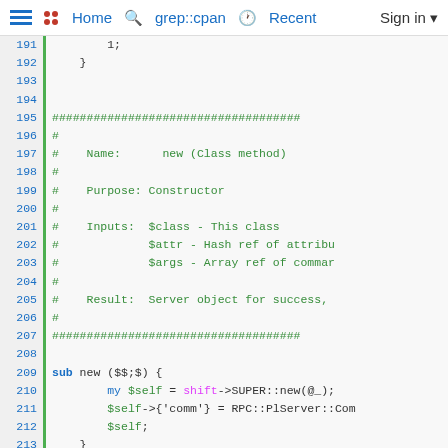Home  grep::cpan  Recent  Sign in
[Figure (screenshot): Source code viewer showing Perl code lines 191-217 with line numbers on left and syntax-highlighted code on right. Lines 196-208 are comment block with # characters in green. Lines 210-214 show sub new function with keyword coloring.]